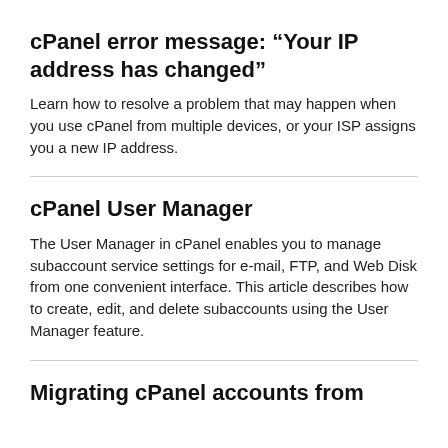cPanel error message: “Your IP address has changed”
Learn how to resolve a problem that may happen when you use cPanel from multiple devices, or your ISP assigns you a new IP address.
cPanel User Manager
The User Manager in cPanel enables you to manage subaccount service settings for e-mail, FTP, and Web Disk from one convenient interface. This article describes how to create, edit, and delete subaccounts using the User Manager feature.
Migrating cPanel accounts from